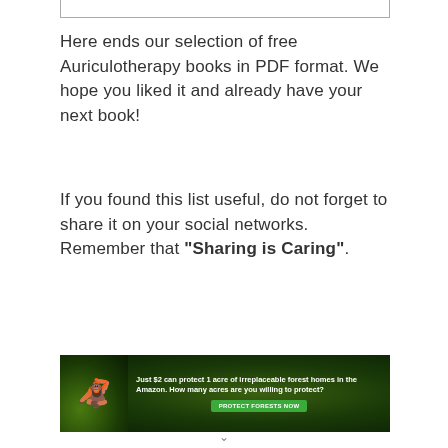Here ends our selection of free Auriculotherapy books in PDF format. We hope you liked it and already have your next book!
If you found this list useful, do not forget to share it on your social networks. Remember that “Sharing is Caring”.
[Figure (infographic): Advertisement banner with dark forest background showing text: 'Just $2 can protect 1 acre of irreplaceable forest homes in the Amazon. How many acres are you willing to protect?' with a green 'PROTECT FORESTS NOW' button and an image of an orangutan.]